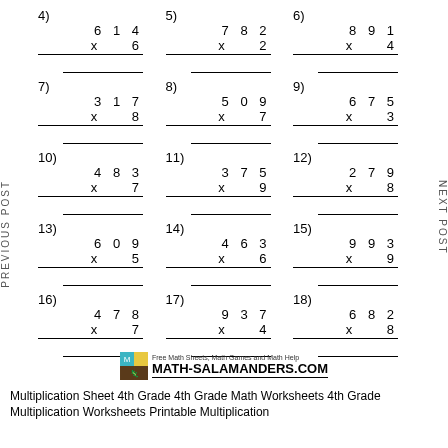4) 614 x 6
5) 782 x 2
6) 891 x 4
7) 317 x 8
8) 509 x 7
9) 675 x 3
10) 483 x 7
11) 375 x 9
12) 279 x 8
13) 609 x 5
14) 463 x 6
15) 993 x 9
16) 478 x 7
17) 937 x 4
18) 682 x 8
[Figure (logo): Math-Salamanders.com logo with salamander icon and tagline: Free Math Sheets, Math Games and Math Help]
Multiplication Sheet 4th Grade 4th Grade Math Worksheets 4th Grade Multiplication Worksheets Printable Multiplication